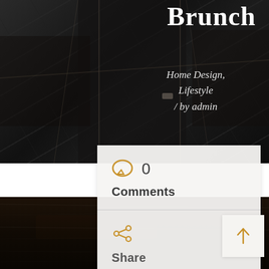[Figure (photo): Aerial dark city street view photo used as hero background image]
Brunch
Home Design, Lifestyle / by admin
0 Comments
Share Post
[Figure (illustration): Up arrow navigation button (light gray square with golden upward arrow)]
[Figure (photo): Dark wood texture footer background]